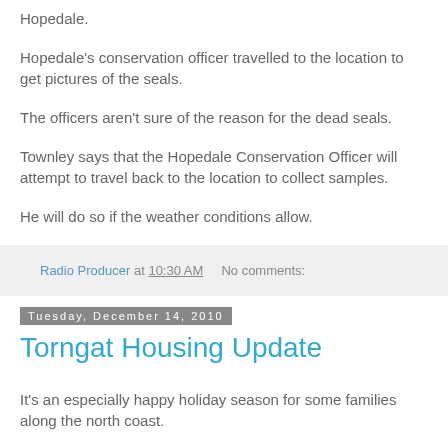Hopedale.
Hopedale's conservation officer travelled to the location to get pictures of the seals.
The officers aren't sure of the reason for the dead seals.
Townley says that the Hopedale Conservation Officer will attempt to travel back to the location to collect samples.
He will do so if the weather conditions allow.
Radio Producer at 10:30 AM   No comments:
Tuesday, December 14, 2010
Torngat Housing Update
It's an especially happy holiday season for some families along the north coast.